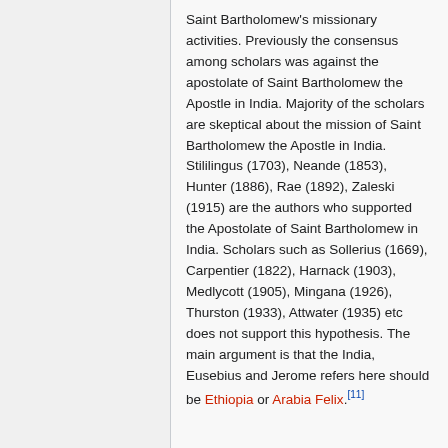Saint Bartholomew's missionary activities. Previously the consensus among scholars was against the apostolate of Saint Bartholomew the Apostle in India. Majority of the scholars are skeptical about the mission of Saint Bartholomew the Apostle in India. Stililingus (1703), Neande (1853), Hunter (1886), Rae (1892), Zaleski (1915) are the authors who supported the Apostolate of Saint Bartholomew in India. Scholars such as Sollerius (1669), Carpentier (1822), Harnack (1903), Medlycott (1905), Mingana (1926), Thurston (1933), Attwater (1935) etc does not support this hypothesis. The main argument is that the India, Eusebius and Jerome refers here should be Ethiopia or Arabia Felix.[11]